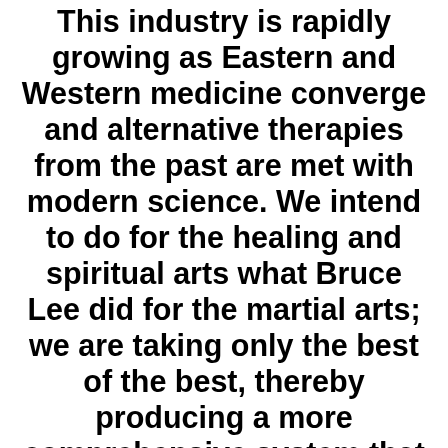This industry is rapidly growing as Eastern and Western medicine converge and alternative therapies from the past are met with modern science. We intend to do for the healing and spiritual arts what Bruce Lee did for the martial arts; we are taking only the best of the best, thereby producing a more comprehensive system that can be tailor made for each individual. What was once considered alternative is now hitting mainstream and considered to be cutting edge. OSE will promote cutting edge technology for healing and transformation. This, in one way, is similar to Bruce Lee's cultivation of the